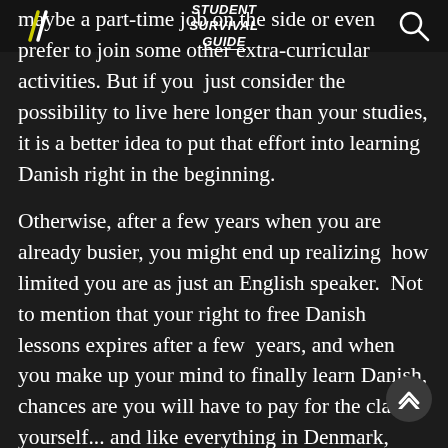Student Survival Guide
maybe a part-time job on the side or even prefer to join some other extra-curricular activities. But if you just consider the possibility to live here longer than your studies, it is a better idea to put that effort into learning Danish right in the beginning.
Otherwise, after a few years when you are already busier, you might end up realizing how limited you are as just an English speaker. Not to mention that your right to free Danish lessons expires after a few years, and when you make up your mind to finally learn Danish, chances are you will have to pay for the classes yourself... and like everything in Denmark, they are not cheap!
As for where you can actually take the lessons,